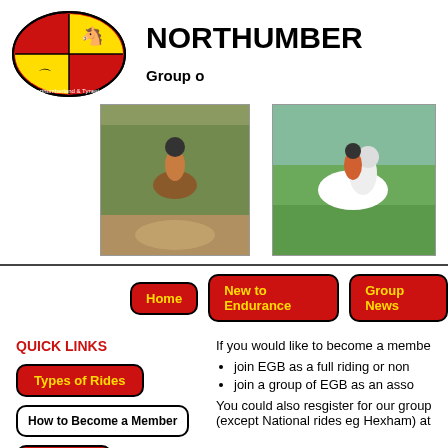[Figure (logo): Northumberland & Tyneside logo: red and yellow oval with dressage rider and horse silhouette, text around oval]
NORTHUMBER
Group o
[Figure (photo): Rider on brown horse on trail path through trees]
[Figure (photo): Rider in orange vest on white/grey horse galloping on green field]
[Figure (photo): Dark horse in green grassy field]
Home | New to Endurance | Group News
QUICK LINKS
If you would like to become a membe
join EGB as a full riding or non
join a group of EGB as an asso
You could also resgister for our group (except National rides eg Hexham) at
Types of Rides
How to Become a Member